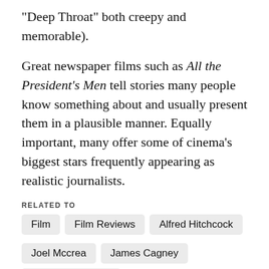“Deep Throat” both creepy and memorable).
Great newspaper films such as All the President’s Men tell stories many people know something about and usually present them in a plausible manner. Equally important, many offer some of cinema’s biggest stars frequently appearing as realistic journalists.
RELATED TO
Film
Film Reviews
Alfred Hitchcock
Joel Mccrea
James Cagney
Humphrey Bogart
His Girl Friday
Citizen Kane
BY RICHARD G. CARTER   JUL. 14, 2015   9:23 P.M.
[Figure (other): Social share buttons: Facebook, Twitter, Reddit, Email, LinkedIn, Pinterest]